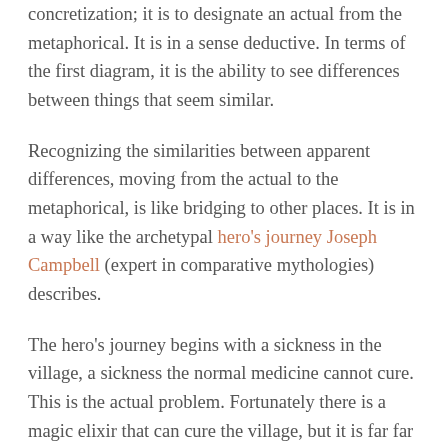concretization; it is to designate an actual from the metaphorical. It is in a sense deductive. In terms of the first diagram, it is the ability to see differences between things that seem similar.
Recognizing the similarities between apparent differences, moving from the actual to the metaphorical, is like bridging to other places. It is in a way like the archetypal hero's journey Joseph Campbell (expert in comparative mythologies) describes.
The hero's journey begins with a sickness in the village, a sickness the normal medicine cannot cure. This is the actual problem. Fortunately there is a magic elixir that can cure the village, but it is far far away. So a hero must be chosen to journey beyond the village and beyond everything that is known. This is the journey from actual